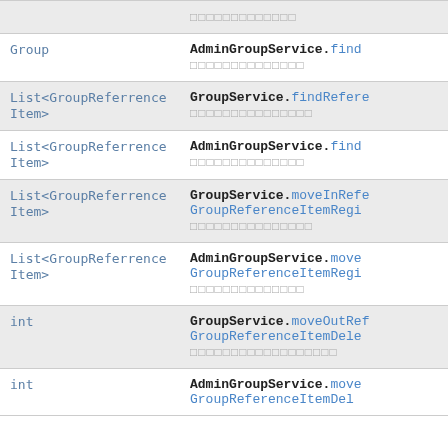| Return Type | Method and Description |
| --- | --- |
|  | □□□□□□□□□□□□□ |
| Group | AdminGroupService.find□
□□□□□□□□□□□□□□ |
| List<GroupReferrenceItem> | GroupService.findRefere□
□□□□□□□□□□□□□□□ |
| List<GroupReferrenceItem> | AdminGroupService.find□
□□□□□□□□□□□□□□ |
| List<GroupReferrenceItem> | GroupService.moveInRefe□
GroupReferenceItemRegi□
□□□□□□□□□□□□□□□ |
| List<GroupReferrenceItem> | AdminGroupService.move□
GroupReferenceItemRegi□
□□□□□□□□□□□□□□ |
| int | GroupService.moveOutRef□
GroupReferenceItemDele□
□□□□□□□□□□□□□□□□□□ |
| int | AdminGroupService.move□
GroupReferenceItemDel□ |